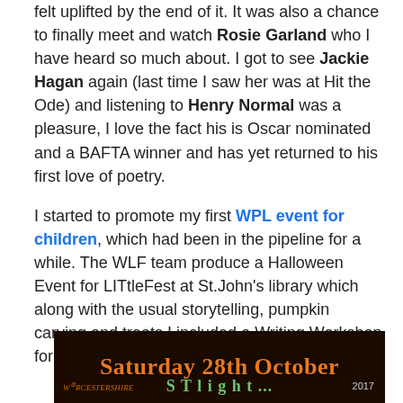felt uplifted by the end of it. It was also a chance to finally meet and watch Rosie Garland who I have heard so much about. I got to see Jackie Hagan again (last time I saw her was at Hit the Ode) and listening to Henry Normal was a pleasure, I love the fact his is Oscar nominated and a BAFTA winner and has yet returned to his first love of poetry.
I started to promote my first WPL event for children, which had been in the pipeline for a while. The WLF team produce a Halloween Event for LITtleFest at St.John's library which along with the usual storytelling, pumpkin carving and treats I included a Writing Workshop for 5 – 9+ years old.
[Figure (photo): Dark background event promotional image showing 'Saturday 28th October 2017' in orange text with a green decorative text below, and a Worcestershire logo at the bottom left.]